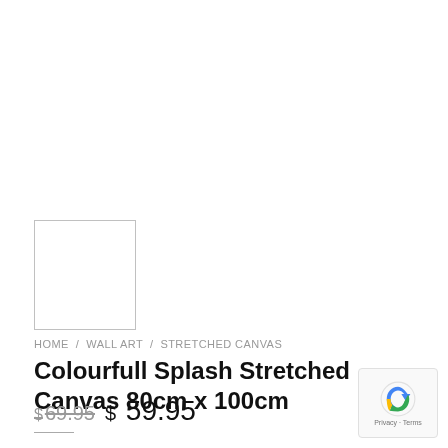[Figure (other): Small thumbnail image placeholder box with light grey border, white interior]
HOME / WALL ART / STRETCHED CANVAS
Colourfull Splash Stretched Canvas 80cm x 100cm
$ 69.95  $ 59.95